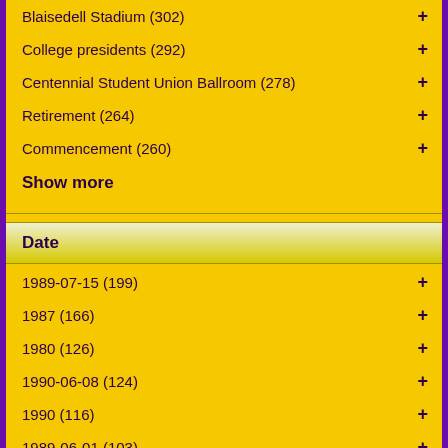Blaisedell Stadium (302)
College presidents (292)
Centennial Student Union Ballroom (278)
Retirement (264)
Commencement (260)
Show more
Date
1989-07-15 (199)
1987 (166)
1980 (126)
1990-06-08 (124)
1990 (116)
1989-06-01 (103)
1986 (100)
1988 (91)
1991-05-31 (86)
1985 (83)
Show more